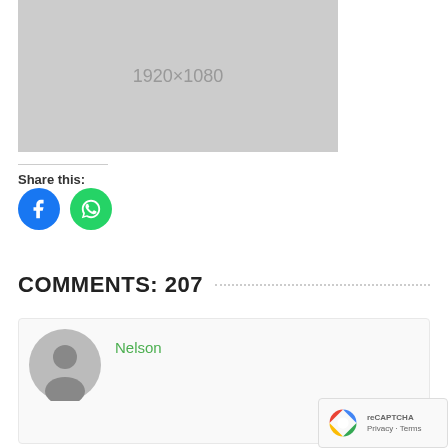[Figure (other): Placeholder image 1920×1080, grey background]
Share this:
[Figure (other): Social share buttons: Facebook (blue circle) and WhatsApp (green circle)]
COMMENTS: 207
[Figure (other): User avatar placeholder (grey circle with person silhouette)]
Nelson